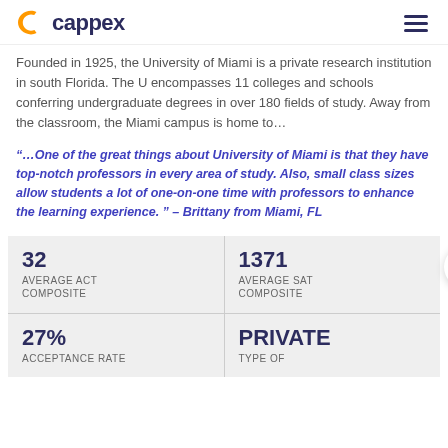cappex
Founded in 1925, the University of Miami is a private research institution in south Florida. The U encompasses 11 colleges and schools conferring undergraduate degrees in over 180 fields of study. Away from the classroom, the Miami campus is home to…
“…One of the great things about University of Miami is that they have top-notch professors in every area of study. Also, small class sizes allow students a lot of one-on-one time with professors to enhance the learning experience. ” – Brittany from Miami, FL
| 32 | AVERAGE ACT
COMPOSITE | 1371 | AVERAGE SAT
COMPOSITE |
| 27% | ACCEPTANCE RATE | PRIVATE | TYPE OF |